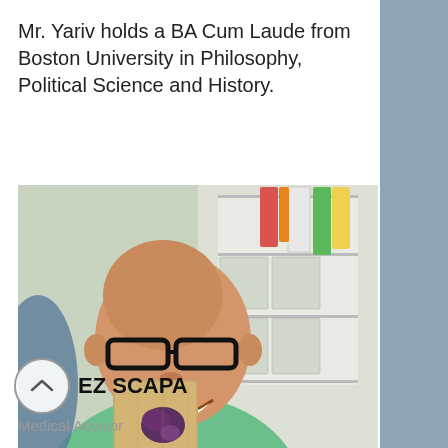Mr. Yariv holds a BA Cum Laude from Boston University in Philosophy, Political Science and History.
[Figure (photo): A smiling bald man wearing black-rimmed glasses and green scrubs, holding up a cork board with a tissue specimen. Background shows a laboratory with colorful label rolls and storage containers.]
EZ SCAPA
Medical Advisor